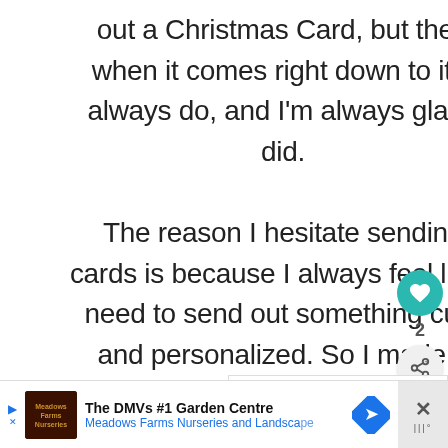out a Christmas Card, but then when it comes right down to it, I always do, and I'm always glad I did.

The reason I hesitate sending cards is because I always feel like I need to send out something cute and personalized. So I made a whole bunch of Christmas Card Templates a few years ago so I wouldn't have to
[Figure (screenshot): UI overlay showing a teal heart/like button with count of 2 and a share button]
[Figure (screenshot): What's Next overlay showing Christmas Card... label with small circular thumbnail image]
[Figure (screenshot): Advertisement bar for The DMVs #1 Garden Centre - Meadows Farms Nurseries and Landscape]